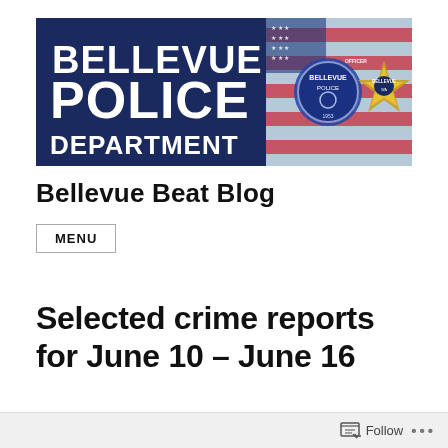[Figure (logo): Bellevue Police Department banner with white bold text on dark navy blue background on left side, and police badge/shield imagery on right side with American flag in background]
Bellevue Beat Blog
MENU
Selected crime reports for June 10 – June 16
Follow ...